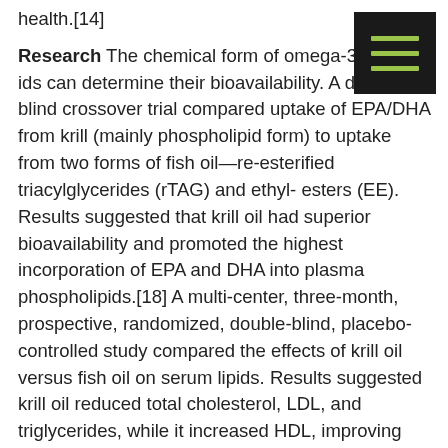health.[14]
[Figure (other): Hamburger menu icon: dark square with three horizontal olive/yellow-green lines]
Research The chemical form of omega-3 fatty acids can determine their bioavailability. A double-blind crossover trial compared uptake of EPA/DHA from krill (mainly phospholipid form) to uptake from two forms of fish oil—re-esterified triacylglycerides (rTAG) and ethyl- esters (EE). Results suggested that krill oil had superior bioavailability and promoted the highest incorporation of EPA and DHA into plasma phospholipids.[18] A multi-center, three-month, prospective, randomized, double-blind, placebo-controlled study compared the effects of krill oil versus fish oil on serum lipids. Results suggested krill oil reduced total cholesterol, LDL, and triglycerides, while it increased HDL, improving each of these parameters to a greater extent than 3 g of fish oil did. Results were even more dramatic with higher doses of krill oil. Doses of 1-1.5 g krill oil per day appeared to support healthy blood glucose metabolism as well.[9]